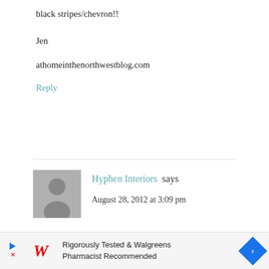black stripes/chevron!!
Jen
athomeinthenorthwestblog.com
Reply
Hyphen Interiors says
August 28, 2012 at 3:09 pm
[Figure (other): Walgreens advertisement banner: 'Rigorously Tested & Walgreens Pharmacist Recommended']